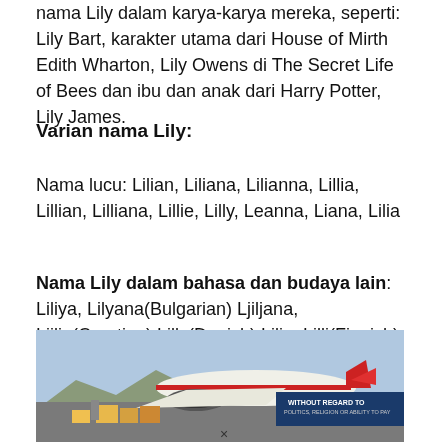nama Lily dalam karya-karya mereka, seperti: Lily Bart, karakter utama dari House of Mirth Edith Wharton, Lily Owens di The Secret Life of Bees dan ibu dan anak dari Harry Potter, Lily James.
Varian nama Lily:
Nama lucu: Lilian, Liliana, Lilianna, Lillia, Lillian, Lilliana, Lillie, Lilly, Leanna, Liana, Lilia
Nama Lily dalam bahasa dan budaya lain: Liliya, Lilyana(Bulgarian) Ljiljana, Ljilja(Croatian) Lilly(Danish) Lilja, Lilli(Finnish) Lili, Liliane, Lilianne(French) Lili, Lilli(German) Lili, Liliána,
[Figure (photo): An airplane being loaded with cargo on a tarmac, with a banner reading 'WITHOUT REGARD TO POLITICS, RELIGION OR ABILITY TO PAY']
×